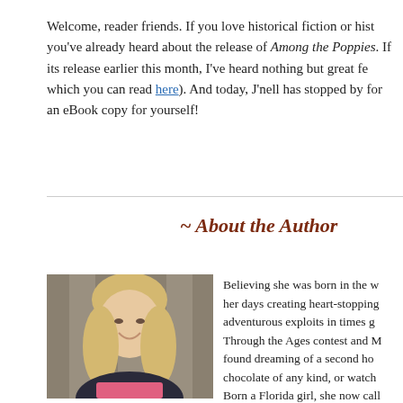Welcome, reader friends. If you love historical fiction or hist you've already heard about the release of Among the Poppies. If its release earlier this month, I've heard nothing but great fe which you can read here). And today, J'nell has stopped by for an eBook copy for yourself!
~ About the Author
[Figure (photo): Author photo: smiling blonde woman outdoors in front of wooden fence]
Believing she was born in the w her days creating heart-stopping adventurous exploits in times g Through the Ages contest and M found dreaming of a second ho chocolate of any kind, or watch Born a Florida girl, she now call very understanding husband, yo